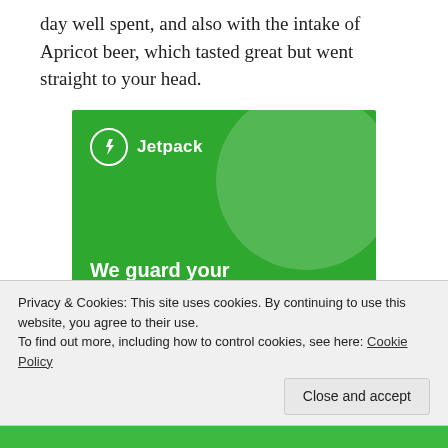day well spent, and also with the intake of Apricot beer, which tasted great but went straight to your head.
[Figure (infographic): Jetpack advertisement banner on green background. Shows Jetpack logo with lightning bolt icon, decorative circle and dots. Text reads: 'We guard your WordPress site. You run your business.' with a 'Secure Your Site' button.]
Privacy & Cookies: This site uses cookies. By continuing to use this website, you agree to their use.
To find out more, including how to control cookies, see here: Cookie Policy
Close and accept